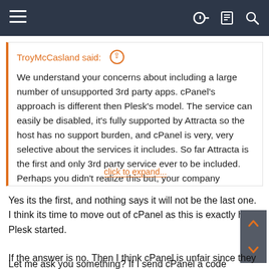Navigation bar with hamburger menu, key icon, document icon, and search icon
TroyMcCasland said: ↑
We understand your concerns about including a large number of unsupported 3rd party apps. cPanel's approach is different then Plesk's model. The service can easily be disabled, it's fully supported by Attracta so the host has no support burden, and cPanel is very, very selective about the services it includes. So far Attracta is the first and only 3rd party service ever to be included. Perhaps you didn't realize this but, your company GlowHost recently signed up as an Attracta partner. I spoke with
click to expand...
Yes its the first, and nothing says it will not be the last one. I think its time to move out of cPanel as this is exactly how Plesk started.
Let me ask you something? If I send cPanel a code that does the same Attract does and allot more for free, will they also turned it by default to ON and compete with Attracta?
If the answer is no. Then I think cPanel is unfair since they are